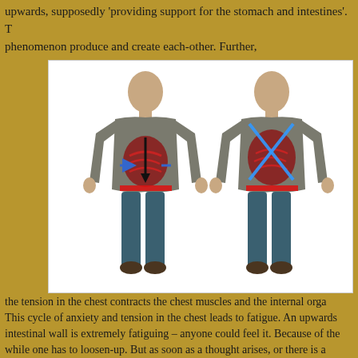upwards, supposedly 'providing support for the stomach and intestines'. T... phenomenon produce and create each-other. Further,
[Figure (illustration): Two 3D rendered human figures standing side by side, both showing internal anatomy visible through their torsos. The left figure has a downward black arrow and blue/red anatomical markings showing stomach and intestinal area with a red horizontal band at the waist. The right figure shows blue diagonal lines forming an X pattern over the chest/abdomen area with similar red band at waist. Both figures wear grey long-sleeve shirts and teal/dark blue jeans.]
the tension in the chest contracts the chest muscles and the internal orga... This cycle of anxiety and tension in the chest leads to fatigue. An upwards... intestinal wall is extremely fatiguing – anyone could feel it. Because of the... while one has to loosen-up. But as soon as a thought arises, or there is a...